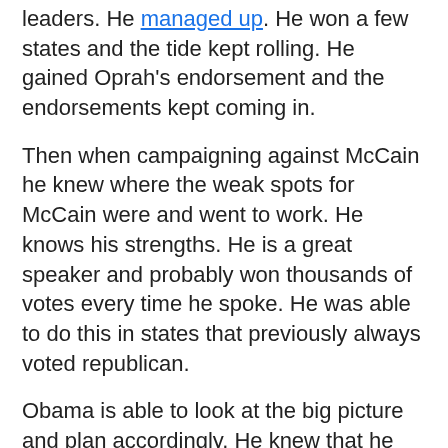leaders. He managed up. He won a few states and the tide kept rolling. He gained Oprah's endorsement and the endorsements kept coming in.
Then when campaigning against McCain he knew where the weak spots for McCain were and went to work. He knows his strengths. He is a great speaker and probably won thousands of votes every time he spoke. He was able to do this in states that previously always voted republican.
Obama is able to look at the big picture and plan accordingly. He knew that he would have more money coming in than McCain because he is excellent at raising funds for his campaign. He refused to take tax payers money which allowed him to raise as much money as he wanted (Yah! Money that goes towards real programs). He was able to outspend McCain in a lot of key states. This kind of strategic thinking is what all presidents